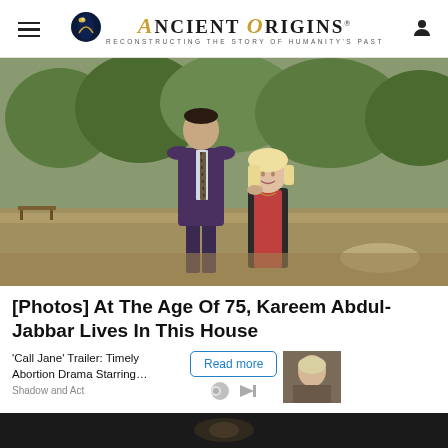Ancient Origins — Reconstructing the story of humanity's past
[Figure (photo): A tall man in a dark suit and patterned tie standing with a shorter blonde woman in a park setting with trees in the background.]
[Photos] At The Age Of 75, Kareem Abdul-Jabbar Lives In This House
'Call Jane' Trailer: Timely Abortion Drama Starring…
Shadow and Act
Read more
[Figure (photo): Thumbnail photo of a woman with blonde hair.]
[Figure (photo): Dark preview image at bottom of page.]